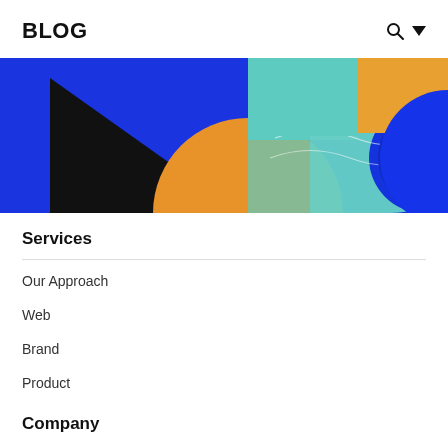BLOG
[Figure (illustration): Abstract geometric illustration on a blue background featuring a black triangle, orange/gold circle, teal rectangle with wavy white lines, and a blue semicircle on the right, with a teal square in the upper center.]
Services
Our Approach
Web
Brand
Product
Company